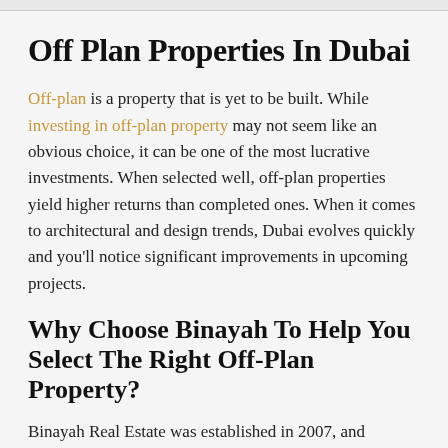Off Plan Properties In Dubai
Off-plan is a property that is yet to be built. While investing in off-plan property may not seem like an obvious choice, it can be one of the most lucrative investments. When selected well, off-plan properties yield higher returns than completed ones. When it comes to architectural and design trends, Dubai evolves quickly and you'll notice significant improvements in upcoming projects.
Why Choose Binayah To Help You Select The Right Off-Plan Property?
Binayah Real Estate was established in 2007, and